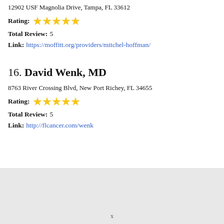12902 USF Magnolia Drive, Tampa, FL 33612
Rating: ★★★★★
Total Review: 5
Link: https://moffitt.org/providers/mitchel-hoffman/
16. David Wenk, MD
8763 River Crossing Blvd, New Port Richey, FL 34655
Rating: ★★★★★
Total Review: 5
Link: http://flcancer.com/wenk